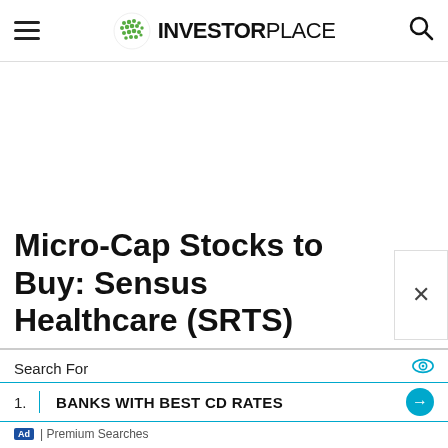INVESTORPLACE
Micro-Cap Stocks to Buy: Sensus Healthcare (SRTS)
Search For
1. BANKS WITH BEST CD RATES
Ad | Premium Searches